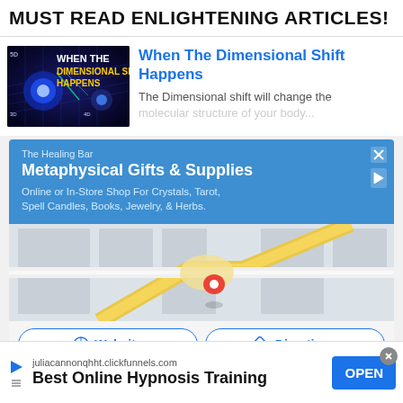MUST READ ENLIGHTENING ARTICLES!
When The Dimensional Shift Happens
The Dimensional shift will change the molecular structure of your body...
[Figure (infographic): Advertisement for The Healing Bar - Metaphysical Gifts & Supplies. Blue banner with store name, headline, and description. Below is a Google Maps view with a red location pin. Buttons for Website and Directions at the bottom.]
[Figure (infographic): Bottom ad bar: juliacannonqhht.clickfunnels.com - Best Online Hypnosis Training with OPEN button]